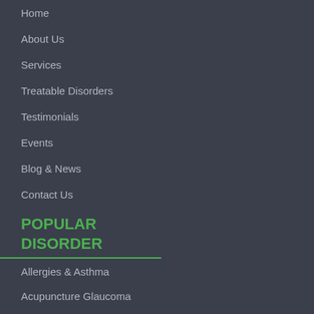Home
About Us
Services
Treatable Disorders
Testimonials
Events
Blog & News
Contact Us
POPULAR DISORDER
Allergies & Asthma
Acupuncture Glaucoma
Acupuncture Depression
Infertility Acupuncture
Atrial Fibrillation